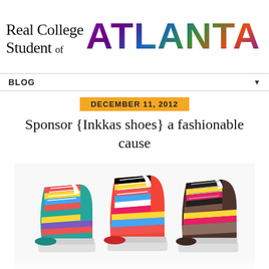[Figure (logo): Real College Student of Atlanta blog logo with handwritten script text 'Real College Student of' and large purple city-photo filled text 'ATLANTA']
BLOG ▼
DECEMBER 11, 2012
Sponsor {Inkkas shoes} a fashionable cause
[Figure (photo): Photo of multiple colorful patterned high-top sneakers (Inkkas shoes) stacked together, featuring vibrant striped textile patterns in various colors including teal, red, pink, blue, and earth tones]